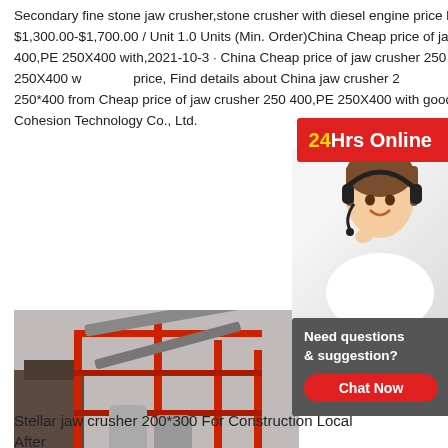Secondary fine stone jaw crusher,stone crusher with diesel engine price list $1,300.00-$1,700.00 / Unit 1.0 Units (Min. Order)China Cheap price of jaw crusher 250 400,PE 250X400 with,2021-10-3 · China Cheap price of jaw crusher 250 400,PE 250X400 with good price, Find details about China jaw crusher 250 400, jaw crusher 250*400 from Cheap price of jaw crusher 250 400,PE 250X400 with good price Hangza Cohesion Technology Co., Ltd.
[Figure (photo): Industrial stone crushing and screening plant with red steel framework, conveyor belts, crushers, and silos. Overlay text: Email:lmzgvip@gmail.com]
Stellar jaw crusher 200*300 For Construction Local After
Jaw Crusher, Jaw Crusher 250 400, Pe 400x600